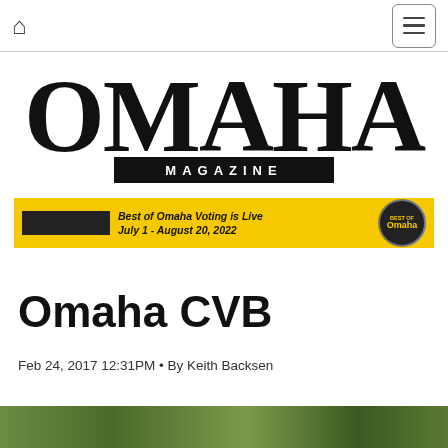Home | Menu
[Figure (logo): Omaha Magazine logo — large serif OMAHA text with MAGAZINE in spaced caps below on a black bar]
[Figure (infographic): Yellow banner advertisement: Best of Omaha Voting is Live, July 1 - August 20, 2022, with Best of Omaha circular badge]
Omaha CVB
Feb 24, 2017 12:31PM • By Keith Backsen
[Figure (photo): Partial photo strip visible at bottom of page]